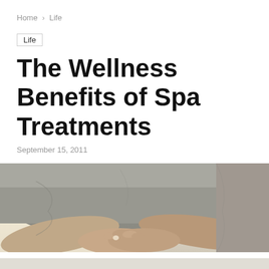Home > Life
Life
The Wellness Benefits of Spa Treatments
September 15, 2011
[Figure (photo): Person wearing a grey shirt with hands clasped over abdomen/stomach area, suggesting a spa or wellness context. Warm light background.]